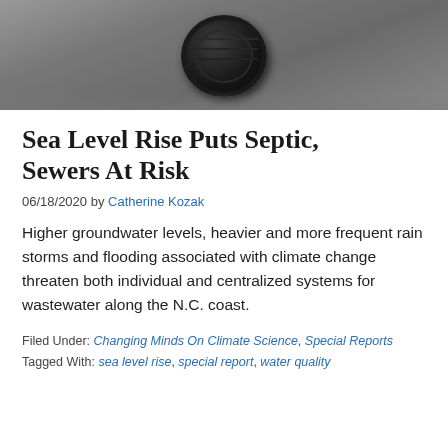[Figure (photo): Close-up photo of a dark metal manhole cover on a wet surface, with water visible around it]
Sea Level Rise Puts Septic, Sewers At Risk
06/18/2020 by Catherine Kozak
Higher groundwater levels, heavier and more frequent rain storms and flooding associated with climate change threaten both individual and centralized systems for wastewater along the N.C. coast.
Filed Under: Changing Minds On Climate Science, Special Reports   Tagged With: sea level rise, special report, water quality